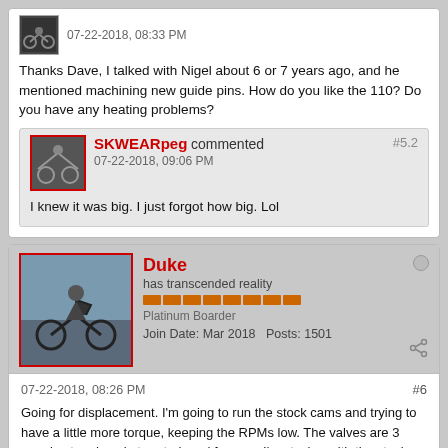Thanks Dave, I talked with Nigel about 6 or 7 years ago, and he mentioned machining new guide pins. How do you like the 110? Do you have any heating problems?
SKWEARpeg commented #5.2 07-22-2018, 09:06 PM
I knew it was big. I just forgot how big. Lol
Duke has transcended reality Platinum Boarder Join Date: Mar 2018 Posts: 1501
07-22-2018, 08:26 PM #6
Going for displacement. I'm going to run the stock cams and trying to have a little more torque, keeping the RPMs low. The valves are 3 angel cut and pocket ported, and for now, I'm staying with the stock valve sizes.
The heads should work with the stepped guide pins and running the 100mm gaskets. With all the measurements and inspection I've checked out, I'm hoping that the 1600 heads work. If anyone knows something about this set up, please chime in. Maybe davej will have some information?